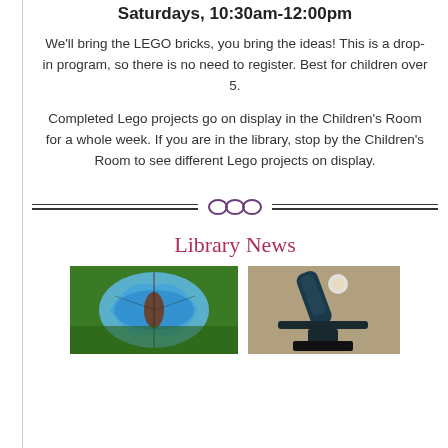Saturdays, 10:30am-12:00pm
We'll bring the LEGO bricks, you bring the ideas! This is a drop-in program, so there is no need to register. Best for children over 5.
Completed Lego projects go on display in the Children's Room for a whole week. If you are in the library, stop by the Children's Room to see different Lego projects on display.
Library News
[Figure (photo): Blue morpho butterfly on green leaf]
[Figure (photo): Telescope on stand]